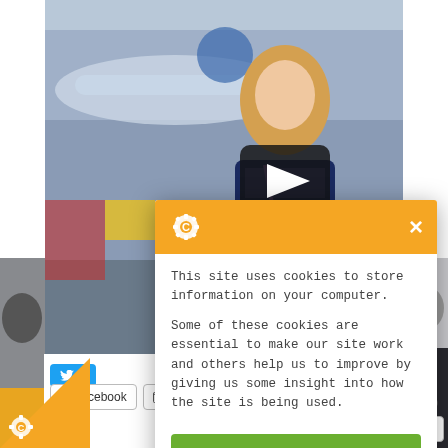[Figure (photo): Video thumbnail showing a woman with long blonde hair in an airplane hangar, with a play button overlay. Background shows aircraft and hangar interior.]
[Figure (screenshot): Cookie consent modal dialog with orange header containing a gear/cookie icon and close X button. Body text explains cookie usage. Green 'I'm fine with this' button at bottom.]
This site uses cookies to store information on your computer.
Some of these cookies are essential to make our site work and others help us to improve by giving us some insight into how the site is being used.
I'm fine with this
Share
T
WhatsApp
Facebook
Email
Print